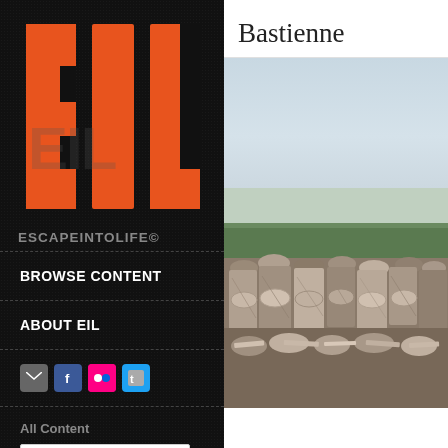[Figure (logo): EIL logo with large orange block letters E, I, L on black background with ESCAPEINTOLIFE copyright wordmark below]
BROWSE CONTENT
ABOUT EIL
[Figure (infographic): Four social media icons: email/envelope (gray), Facebook (blue), Flickr (pink), Twitter (blue)]
All Content
[Figure (screenshot): Browse by Tag dropdown selector]
Bastienne
[Figure (photo): Photo showing a large pile of chopped firewood logs with green trees in background, sky above]